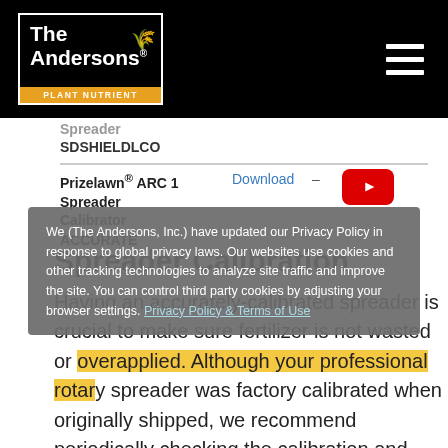The Andersons PLANT NUTRIENT
Spreader SDSHIELDLCO
Prizelawn® ARC 1 Spreader Calibrator
Download –
ACCURATE
We (The Andersons, Inc.) have updated our Privacy Policy in response to global privacy laws. Our websites use cookies and other tracking technologies to analyze site traffic and improve the site. You can control third party cookies by adjusting your browser settings. Privacy Policy & Terms of Use
Spreader Calibration
Having an accurately-calibrated spreader is crucial to make sure fertilizer is not wasted or overapplied. Although your professional rotary spreader was factory calibrated when originally shipped, we recommend periodically checking the calibration and adjusting if necessary. This